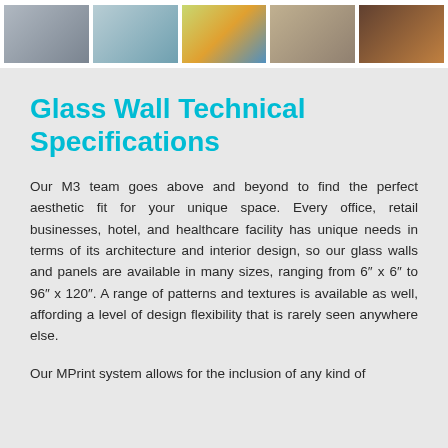[Figure (photo): Row of 5 thumbnail photos showing glass wall installations in various settings]
Glass Wall Technical Specifications
Our M3 team goes above and beyond to find the perfect aesthetic fit for your unique space. Every office, retail businesses, hotel, and healthcare facility has unique needs in terms of its architecture and interior design, so our glass walls and panels are available in many sizes, ranging from 6″ x 6″ to 96″ x 120″. A range of patterns and textures is available as well, affording a level of design flexibility that is rarely seen anywhere else.
Our MPrint system allows for the inclusion of any kind of